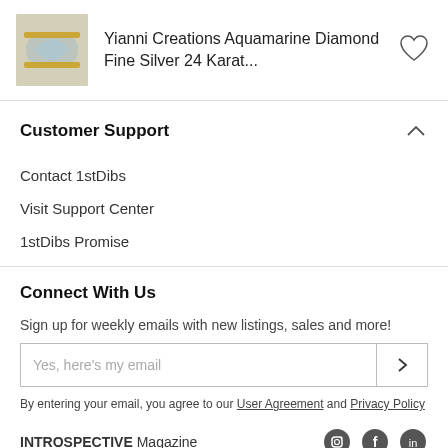Yianni Creations Aquamarine Diamond Fine Silver 24 Karat...
Customer Support
Contact 1stDibs
Visit Support Center
1stDibs Promise
Connect With Us
Sign up for weekly emails with new listings, sales and more!
Yes, here's my email
By entering your email, you agree to our User Agreement and Privacy Policy
INTROSPECTIVE Magazine